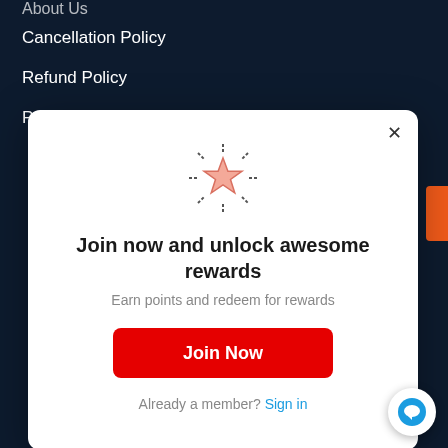About Us
Cancellation Policy
Refund Policy
Privacy Policy
[Figure (screenshot): Modal popup with star icon, heading 'Join now and unlock awesome rewards', subtitle 'Earn points and redeem for rewards', red 'Join Now' button, and 'Already a member? Sign in' link]
Join now and unlock awesome rewards
Earn points and redeem for rewards
Join Now
Already a member? Sign in